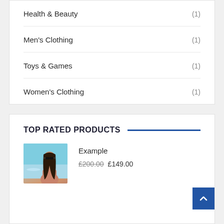Health & Beauty (1)
Men's Clothing (1)
Toys & Games (1)
Women's Clothing (1)
TOP RATED PRODUCTS
[Figure (photo): Woman in sunglasses at a beach, ocean in background]
Example
£200.00 £149.00